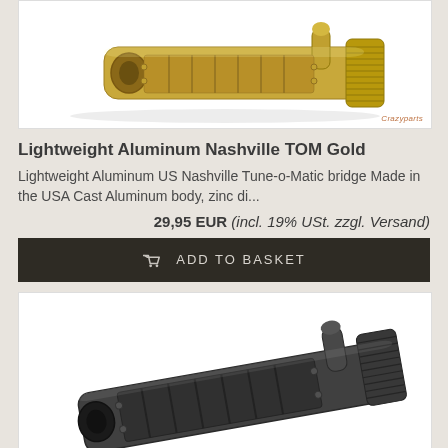[Figure (photo): Photo of a gold-colored Lightweight Aluminum Nashville TOM (Tune-o-Matic) guitar bridge hardware piece against white background, with watermark 'Crazyparts' in bottom right]
Lightweight Aluminum Nashville TOM Gold
Lightweight Aluminum US Nashville Tune-o-Matic bridge Made in the USA Cast Aluminum body, zinc di...
29,95 EUR (incl. 19% USt. zzgl. Versand)
ADD TO BASKET
[Figure (photo): Photo of a dark/gunmetal-colored Lightweight Aluminum Nashville TOM guitar bridge hardware piece against white background, partially visible]